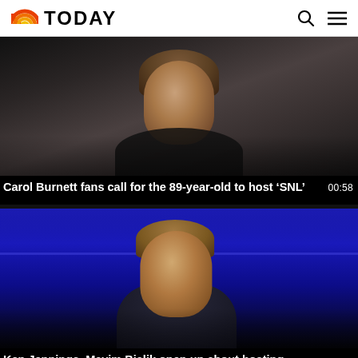TODAY
[Figure (photo): Carol Burnett close-up portrait, dark background]
Carol Burnett fans call for the 89-year-old to host ‘SNL’
00:58
[Figure (photo): Ken Jennings on Jeopardy stage with blue lighting]
Ken Jennings, Mayim Bialik open up about hosting ‘Jeopardy!’
01:05
[Figure (photo): Partial view of third video thumbnail, dark warm tones]